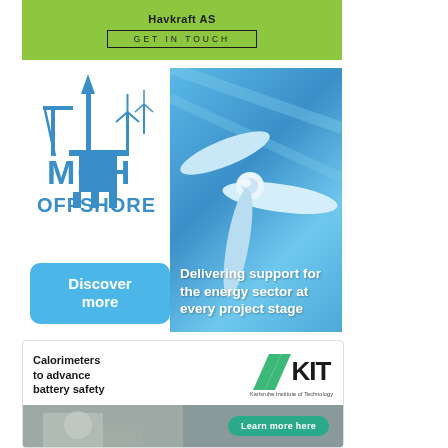[Figure (illustration): Havkraft AS green advertisement banner with 'GET IN TOUCH' button]
[Figure (illustration): MGH Offshore advertisement showing offshore platform logo on left and wind turbine photo on right with text 'Delivering support for the energy sector at every project stage' and a 'Discover more' button]
[Figure (illustration): KIT (Karlsruhe Institute of Technology) advertisement: 'Calorimeters to advance battery safety' with KIT logo and 'Learn more here' button, photo of researcher at bottom]